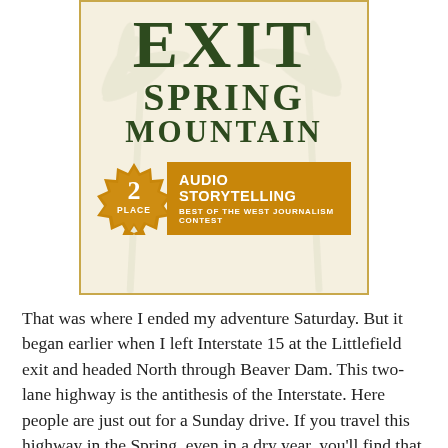[Figure (illustration): Book cover for 'Exit Spring Mountain' with a beige/cream background, palm tree watermark design, dark green bold title text reading EXIT SPRING MOUNTAIN, and an award badge showing '2 PLACE' for 'AUDIO STORYTELLING - BEST OF THE WEST JOURNALISM CONTEST' in an orange/gold color scheme.]
That was where I ended my adventure Saturday. But it began earlier when I left Interstate 15 at the Littlefield exit and headed North through Beaver Dam. This two-lane highway is the antithesis of the Interstate. Here people are just out for a Sunday drive. If you travel this highway in the Spring, even in a dry year, you'll find that the shoulders of the road are packed with wildflowers. I found this drive